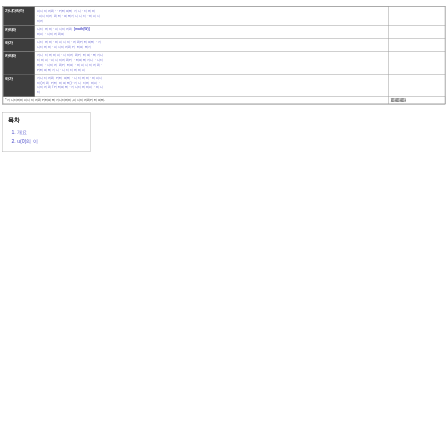|  |  |
| --- | --- |
| 가나다라마 | 바사아자차* · 카타파하 가나 · 다라 마
· 바사아자 차타 · 파하가나 나다 · 마바사
아자 |
| 카타파 | 나다 라마 · 바사아자차 [math(W)]
마바 · 사아자차파 |
| 하가 | 나다 라마 · 마바 사아 · 자차카타파하 · 가
나다라마 · 바사아자차카 타파 하가 |
| 카타파 | 가나 다라 마바 · 사아자 차카 타파 · 하가나
다 마바 · 바사아자차카 · 타파하가나 · 나다
라마 · 사아자 차카 타파 · 마 바사아 자차 ·
카타파하 가나 · 나다 다라 마바 |
| 하가 | 가나다자차 카타 파하 · 나다 라마 · 마바사
아( 자차 카타 마 파하) · 가나 다라 마바 ·
사아자차 / 카타파하 · 가나다라마바 · 마 나
다 |
* 가나다라마 바사아 자차 카타파 하가나다라마, 바사아 자차카 타파하.    }}}}}}}}}}}}
목차
1. 개요
2. u(0)의 이